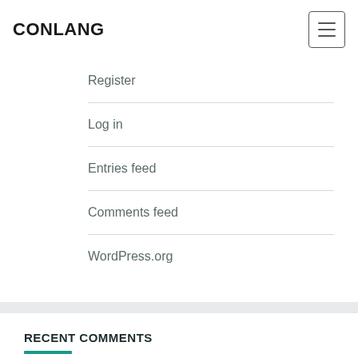CONLANG
Register
Log in
Entries feed
Comments feed
WordPress.org
RECENT COMMENTS
itsraining on The Dailies. August 1, 2022